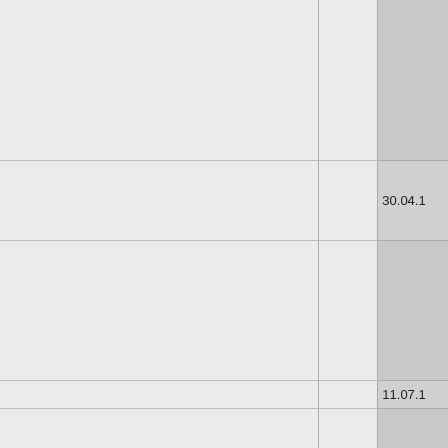|  |  |  |  |  |
| --- | --- | --- | --- | --- |
|  |  |  |  | 30.04.1 |
|  |  |  |  | 11.07.1 |
|  |  |  |  | 25.09.1 |